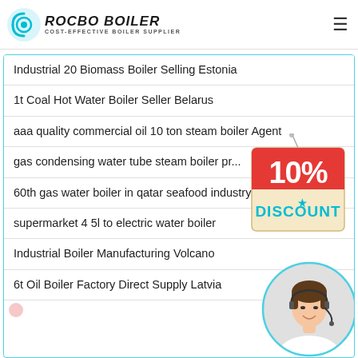ROCBO BOILER — COST-EFFECTIVE BOILER SUPPLIER
Industrial 20 Biomass Boiler Selling Estonia
1t Coal Hot Water Boiler Seller Belarus
aaa quality commercial oil 10 ton steam boiler Agent
gas condensing water tube steam boiler pr...
60th gas water boiler in qatar seafood industry
supermarket 4 5l to electric water boiler
Industrial Boiler Manufacturing Volcano
6t Oil Boiler Factory Direct Supply Latvia
[Figure (infographic): 10% DISCOUNT badge/sticker hanging from a pin, red text on cream/yellow background]
[Figure (photo): Customer service representative woman with headset, smiling, circular crop]